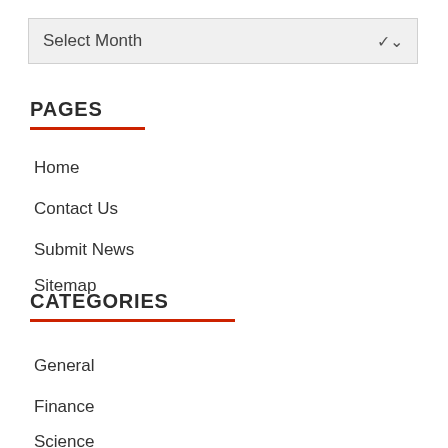Select Month
PAGES
Home
Contact Us
Submit News
Sitemap
CATEGORIES
General
Finance
Science